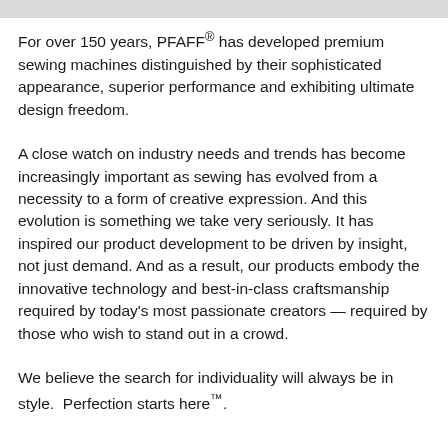For over 150 years, PFAFF® has developed premium sewing machines distinguished by their sophisticated appearance, superior performance and exhibiting ultimate design freedom.
A close watch on industry needs and trends has become increasingly important as sewing has evolved from a necessity to a form of creative expression. And this evolution is something we take very seriously. It has inspired our product development to be driven by insight, not just demand. And as a result, our products embody the innovative technology and best-in-class craftsmanship required by today's most passionate creators — required by those who wish to stand out in a crowd.
We believe the search for individuality will always be in style.  Perfection starts here™.